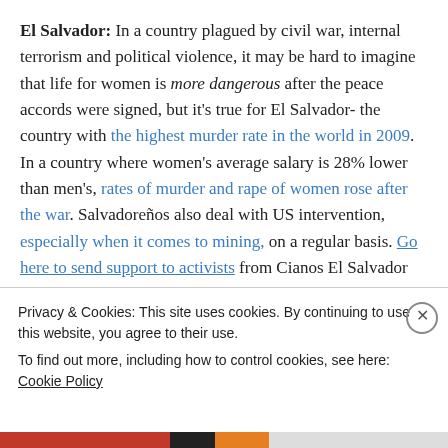El Salvador: In a country plagued by civil war, internal terrorism and political violence, it may be hard to imagine that life for women is more dangerous after the peace accords were signed, but it's true for El Salvador- the country with the highest murder rate in the world in 2009. In a country where women's average salary is 28% lower than men's, rates of murder and rape of women rose after the war. Salvadoreños also deal with US intervention, especially when it comes to mining, on a regular basis. Go here to send support to activists from Cianos El Salvador
Privacy & Cookies: This site uses cookies. By continuing to use this website, you agree to their use.
To find out more, including how to control cookies, see here: Cookie Policy
Close and accept